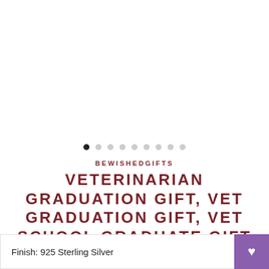[Figure (other): Image carousel area (white/empty image shown), with pagination dots below. One filled dot (active, first) and 8 empty dots.]
BEWISHEDGIFTS
VETERINARIAN GRADUATION GIFT, VET GRADUATION GIFT, VET SCHOOL GRADUATE GIFT NECKLACE
★★★★★ 6 reviews
$32.90 USD
Finish: 925 Sterling Silver